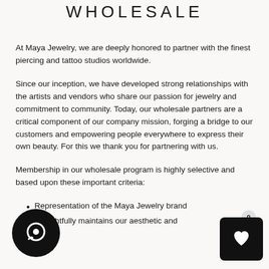WHOLESALE
At Maya Jewelry, we are deeply honored to partner with the finest piercing and tattoo studios worldwide.
Since our inception, we have developed strong relationships with the artists and vendors who share our passion for jewelry and commitment to community. Today, our wholesale partners are a critical component of our company mission, forging a bridge to our customers and empowering people everywhere to express their own beauty. For this we thank you for partnering with us.
Membership in our wholesale program is highly selective and based upon these important criteria:
Representation of the Maya Jewelry brand
thoughtfully maintains our aesthetic and